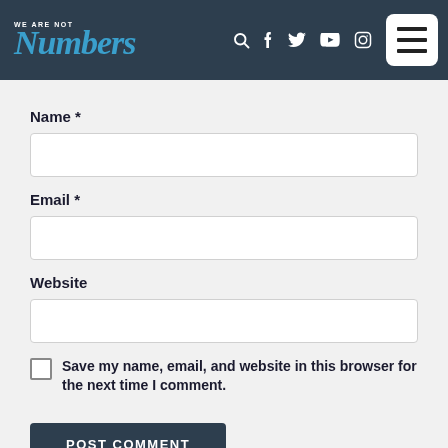We Are Not Numbers — site header with logo, search, social icons, and menu button
Name *
Email *
Website
Save my name, email, and website in this browser for the next time I comment.
POST COMMENT